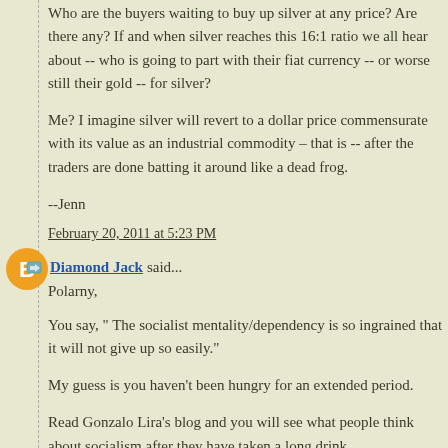Who are the buyers waiting to buy up silver at any price? Are there any? If and when silver reaches this 16:1 ratio we all hear about -- who is going to part with their fiat currency -- or worse still their gold -- for silver?
Me? I imagine silver will revert to a dollar price commensurate with its value as an industrial commodity – that is -- after the traders are done batting it around like a dead frog.
--Jenn
February 20, 2011 at 5:23 PM
Diamond Jack said...
Polarny,
You say, " The socialist mentality/dependency is so ingrained that it will not give up so easily."
My guess is you haven't been hungry for an extended period.
Read Gonzalo Lira's blog and you will see what people think about socialism after they have taken a long drink.